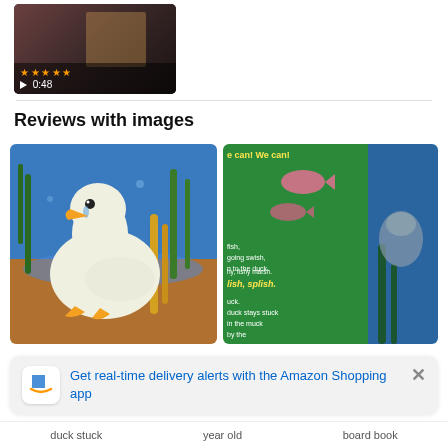[Figure (screenshot): Video thumbnail showing a children's book with 5-star rating and 0:48 duration]
Reviews with images
[Figure (photo): Children's book page showing a white duck standing in a marshy setting with blue water background and brown ground]
[Figure (photo): Children's book page showing green text page with fish illustrations and text reading 'We can! We can! fish, going swish, to the duck. splish, splish. duck stays stuck in the muck by the fishy marsh.']
Get real-time delivery alerts with the Amazon Shopping app
duck stuck   year old   board book